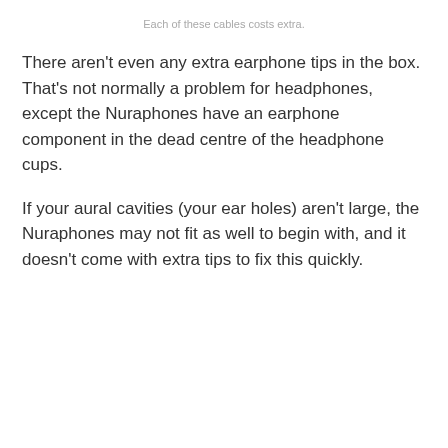Each of these cables costs extra.
There aren't even any extra earphone tips in the box. That's not normally a problem for headphones, except the Nuraphones have an earphone component in the dead centre of the headphone cups.
If your aural cavities (your ear holes) aren't large, the Nuraphones may not fit as well to begin with, and it doesn't come with extra tips to fix this quickly.